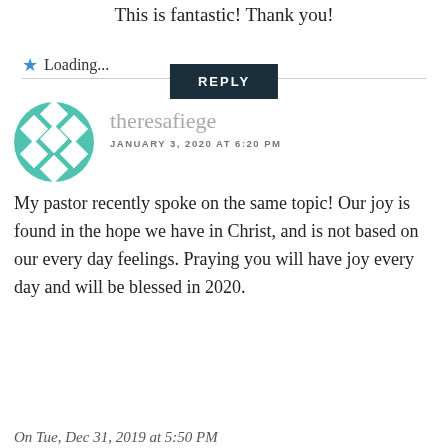This is fantastic! Thank you!
★ Loading...
REPLY
theresafiege
JANUARY 3, 2020 AT 6:20 PM
My pastor recently spoke on the same topic! Our joy is found in the hope we have in Christ, and is not based on our every day feelings. Praying you will have joy every day and will be blessed in 2020.
On Tue, Dec 31, 2019 at 5:50 PM